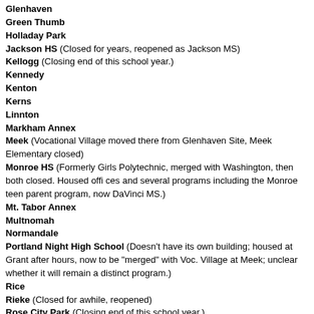Glenhaven
Green Thumb
Holladay Park
Jackson HS (Closed for years, reopened as Jackson MS)
Kellogg (Closing end of this school year.)
Kennedy
Kenton
Kerns
Linnton
Markham Annex
Meek (Vocational Village moved there from Glenhaven Site, Meek Elementary closed)
Monroe HS (Formerly Girls Polytechnic, merged with Washington, then both closed. Housed offices and several programs including the Monroe teen parent program, now DaVinci MS.)
Mt. Tabor Annex
Multnomah
Normandale
Portland Night High School (Doesn't have its own building; housed at Grant after hours, now to be "merged" with Voc. Village at Meek; unclear whether it will remain a distinct program.)
Rice
Rieke (Closed for awhile, reopened)
Rose City Park (Closing end of this school year.)
Sacajawea (now a district Head Start site)
Smith
Sylvan (Closed and leased for many years, now housing 6th grade due to crowding at West Sylvan)
Terwilliger
Vocational Village (Powell Blvd. site closed, moved to Glenhaven, then to Meek)
Washington HS (Became Child Service Center, now closed and sold.)
Whitaker ("Old Whitaker" on Columbia Blvd.) Closed, then used for itinerant staff offices, then